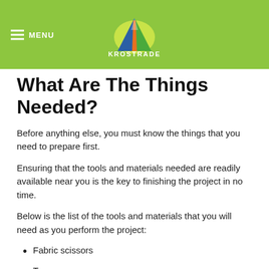MENU | KROSTRADE
What Are The Things Needed?
Before anything else, you must know the things that you need to prepare first.
Ensuring that the tools and materials needed are readily available near you is the key to finishing the project in no time.
Below is the list of the tools and materials that you will need as you perform the project:
Fabric scissors
Tape measure